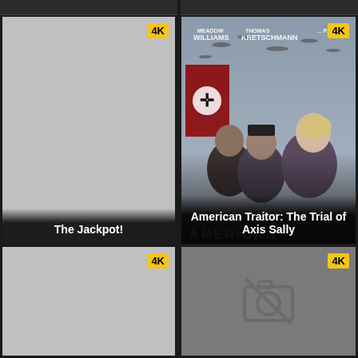[Figure (screenshot): Movie thumbnail placeholder - The Jackpot! with 4K badge, gray background]
[Figure (screenshot): Movie poster for American Traitor: The Trial of Axis Sally with 4K badge, actors Meadow Williams, Thomas Kretschmann, and PA visible, WWII era setting]
[Figure (screenshot): Movie thumbnail placeholder with 4K badge, gray background]
[Figure (screenshot): Movie thumbnail placeholder with 4K badge, gray-dark background with no-image camera icon]